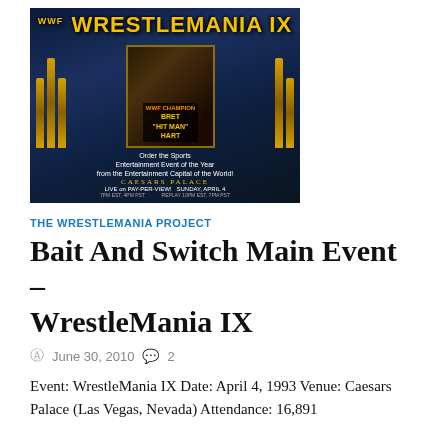[Figure (photo): WrestleMania IX promotional poster featuring Bret 'Hit Man' Hart and Caesars Palace Las Vegas, WWF Pay-Per-View event]
THE WRESTLEMANIA PROJECT
Bait And Switch Main Event – WrestleMania IX
June 30, 2010   2
Event: WrestleMania IX Date: April 4, 1993 Venue: Caesars Palace (Las Vegas, Nevada) Attendance: 16,891